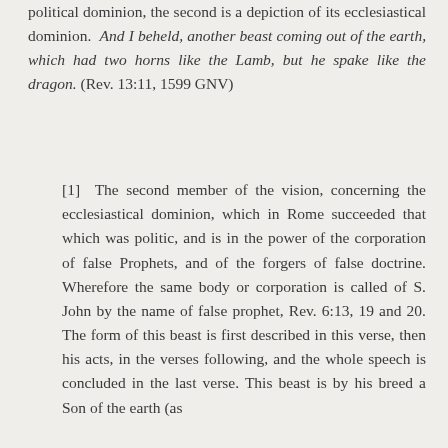political dominion, the second is a depiction of its ecclesiastical dominion. And I beheld, another beast coming out of the earth, which had two horns like the Lamb, but he spake like the dragon. (Rev. 13:11, 1599 GNV)
[1] The second member of the vision, concerning the ecclesiastical dominion, which in Rome succeeded that which was politic, and is in the power of the corporation of false Prophets, and of the forgers of false doctrine. Wherefore the same body or corporation is called of S. John by the name of false prophet, Rev. 6:13, 19 and 20. The form of this beast is first described in this verse, then his acts, in the verses following, and the whole speech is concluded in the last verse. This beast is by his breed a Son of the earth (as